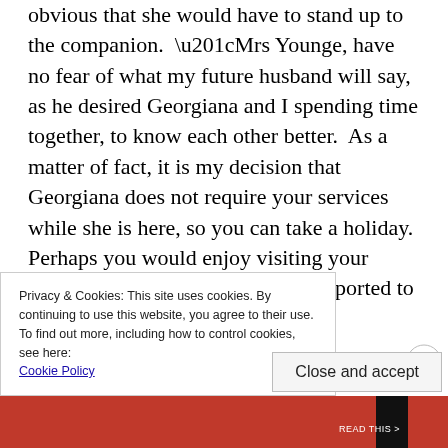obvious that she would have to stand up to the companion. “Mrs Younge, have no fear of what my future husband will say, as he desired Georgiana and I spending time together, to know each other better. As a matter of fact, it is my decision that Georgiana does not require your services while she is here, so you can take a holiday. Perhaps you would enjoy visiting your family. I can see that you are transported to your relations.” “My only relations is my sister, and she is in Scotland at the moment, working. I cannot
Privacy & Cookies: This site uses cookies. By continuing to use this website, you agree to their use.
To find out more, including how to control cookies, see here:
Cookie Policy
Close and accept